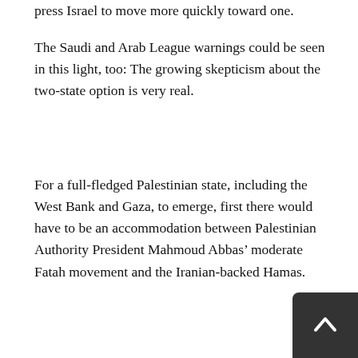press Israel to move more quickly toward one.
The Saudi and Arab League warnings could be seen in this light, too: The growing skepticism about the two-state option is very real.
For a full-fledged Palestinian state, including the West Bank and Gaza, to emerge, first there would have to be an accommodation between Palestinian Authority President Mahmoud Abbas’ moderate Fatah movement and the Iranian-backed Hamas.
This is the thrust of much behind-the-scenes Saudi, Egyptian and Jordanian diplomacy. Indeed, they reportedly are pressing Hamas to agree to cede its control of Gaza at the upcoming Arab League summit. But they are well aware that the chances of that happening are extremely low given Iran’s unyielding opposition to anything that might help the moderate camp. Worse for the two-state option: Many Palestinian intellectuals, including some close to Abbas, are questioning its merits. In a seminal op-ed in the Britiš